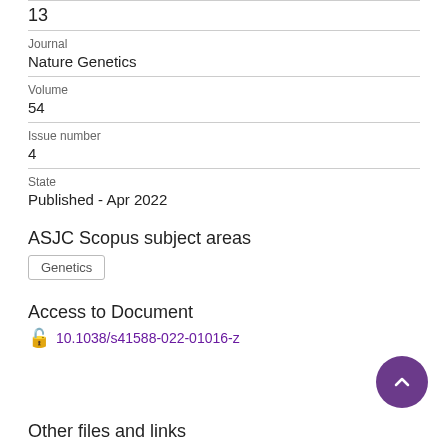13
Journal
Nature Genetics
Volume
54
Issue number
4
State
Published - Apr 2022
ASJC Scopus subject areas
Genetics
Access to Document
10.1038/s41588-022-01016-z
Other files and links